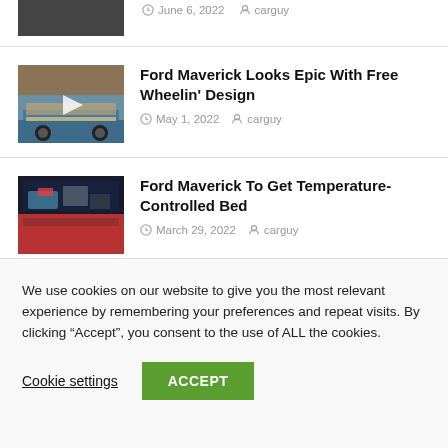[Figure (photo): Partial truck photo at top of page (cropped)]
June 6, 2022  carguy
[Figure (photo): Ford Maverick with Free Wheelin' design stripes, side view]
Ford Maverick Looks Epic With Free Wheelin' Design
May 1, 2022  carguy
[Figure (photo): Ford Maverick truck bed interior with temperature control equipment]
Ford Maverick To Get Temperature-Controlled Bed
March 29, 2022  carguy
We use cookies on our website to give you the most relevant experience by remembering your preferences and repeat visits. By clicking “Accept”, you consent to the use of ALL the cookies.
Cookie settings  ACCEPT